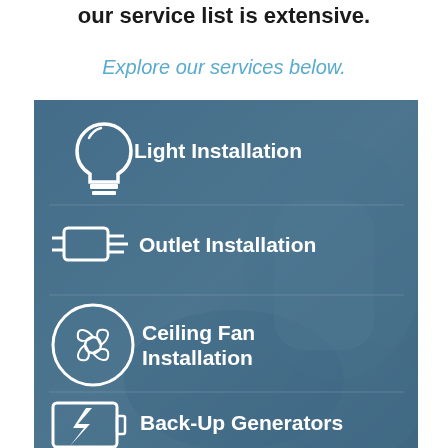our service list is extensive.
Explore our services below.
[Figure (infographic): Blue semi-transparent infographic panel over a photo of electrician gloves/tools, showing four service items with white icons: Light Installation (lightbulb icon), Outlet Installation (plug icon), Ceiling Fan Installation (ceiling fan icon), Back-Up Generators (lightning bolt in rectangle icon).]
Light Installation
Outlet Installation
Ceiling Fan Installation
Back-Up Generators